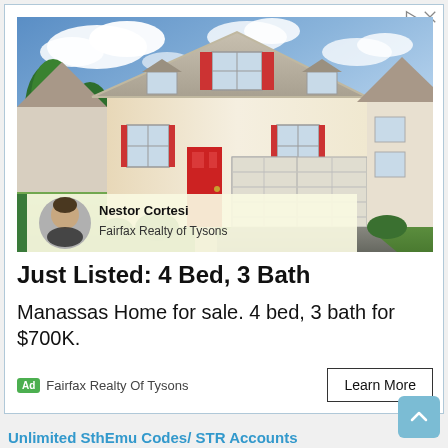[Figure (photo): Two-story suburban house with white/beige siding, red shutters, two-car garage, green lawn, blue sky with clouds. Agent overlay bar shows Nestor Cortesi, Fairfax Realty of Tysons.]
Just Listed: 4 Bed, 3 Bath
Manassas Home for sale. 4 bed, 3 bath for $700K.
Ad  Fairfax Realty Of Tysons
Learn More
Unlimited SthEmu Codes/ STR Accounts